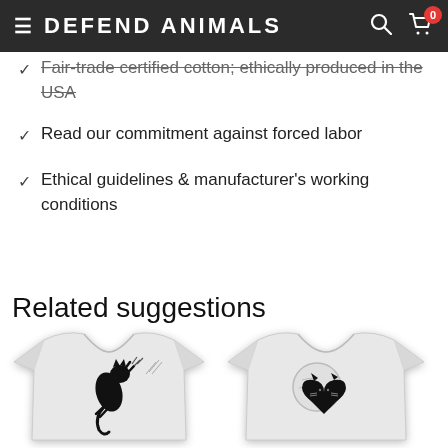DEFEND ANIMALS
Fair-trade certified cotton; ethically produced in the USA
Read our commitment against forced labor
Ethical guidelines & manufacturer's working conditions
Related suggestions
[Figure (photo): White t-shirt with a black cat climbing graphic]
[Figure (photo): White t-shirt with a black heart and moon cat graphic]